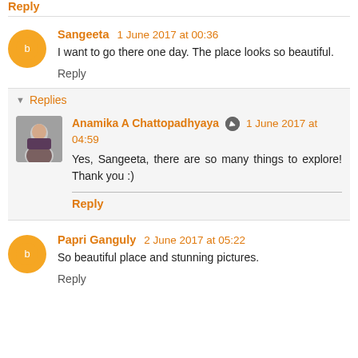Reply (top partial, cut off)
Sangeeta  1 June 2017 at 00:36
I want to go there one day. The place looks so beautiful.
Reply
Replies
Anamika A Chattopadhyaya  1 June 2017 at 04:59
Yes, Sangeeta, there are so many things to explore! Thank you :)
Reply
Papri Ganguly  2 June 2017 at 05:22
So beautiful place and stunning pictures.
Reply